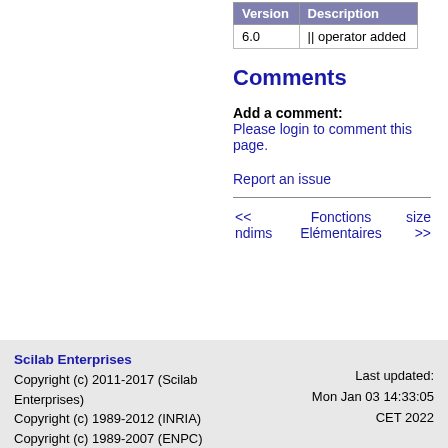| Version | Description |
| --- | --- |
| 6.0 | || operator added |
Comments
Add a comment:
Please login to comment this page.
Report an issue
<< ndims   Fonctions Elémentaires   size >>
Scilab Enterprises
Copyright (c) 2011-2017 (Scilab Enterprises)
Copyright (c) 1989-2012 (INRIA)
Copyright (c) 1989-2007 (ENPC)
with contributors
Last updated: Mon Jan 03 14:33:05 CET 2022